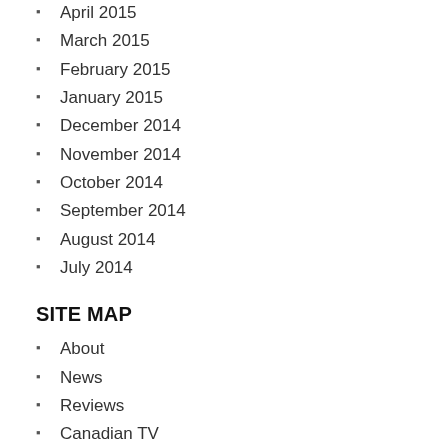April 2015
March 2015
February 2015
January 2015
December 2014
November 2014
October 2014
September 2014
August 2014
July 2014
SITE MAP
About
News
Reviews
Canadian TV
Opinions